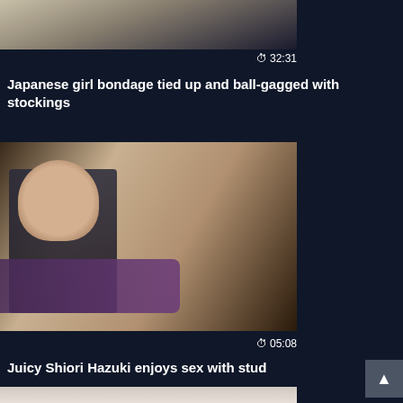[Figure (screenshot): Top partial video thumbnail showing a person in a floral garment, dark background]
32:31
Japanese girl bondage tied up and ball-gagged with stockings
[Figure (screenshot): Video thumbnail showing a person in black clothing from behind]
05:08
Juicy Shiori Hazuki enjoys sex with stud
[Figure (screenshot): Partial bottom thumbnail showing a person with light hair]